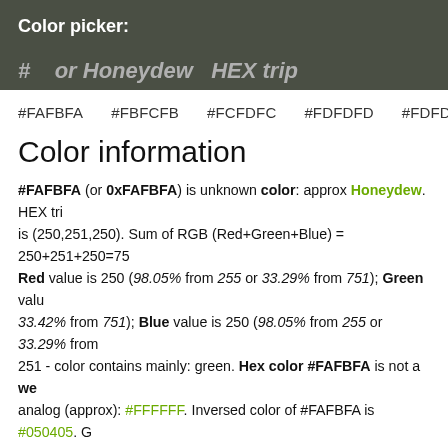Color picker:
#FAFBFA #FBFCFB #FCFDFC #FDFDFD #FDFDFD
Color information
#FAFBFA (or 0xFAFBFA) is unknown color: approx Honeydew. HEX triplet is (250,251,250). Sum of RGB (Red+Green+Blue) = 250+251+250=75... Red value is 250 (98.05% from 255 or 33.29% from 751); Green value... 33.42% from 751); Blue value is 250 (98.05% from 255 or 33.29% from... 251 - color contains mainly: green. Hex color #FAFBFA is not a we... analog (approx): #FFFFFF. Inversed color of #FAFBFA is #050405. G... color (decimal): -328710 or 16448506. OLE color: 16448506.
HSL color Cylindrical-coordinate representation of color #FAFBFA: saturation: 0.11, lightness: 0.98%. HSV value (or HSB Brightness)... saturation: 0%. Process color model (Four color, CMYK) of #FAFBFA... Yellow = 0.00 and Black (K on CMYK) = 0.02.